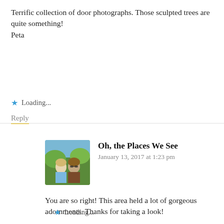Terrific collection of door photographs. Those sculpted trees are quite something!
Peta
Loading...
Reply
[Figure (photo): Avatar photo of two people outdoors]
Oh, the Places We See
January 13, 2017 at 1:23 pm
You are so right! This area held a lot of gorgeous adornments. Thanks for taking a look!
Loading...